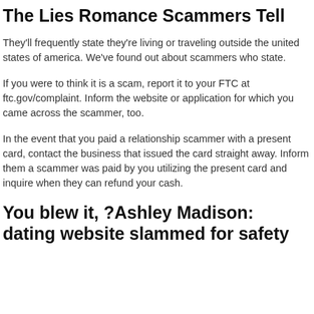The Lies Romance Scammers Tell
They'll frequently state they're living or traveling outside the united states of america. We've found out about scammers who state.
If you were to think it is a scam, report it to your FTC at ftc.gov/complaint. Inform the website or application for which you came across the scammer, too.
In the event that you paid a relationship scammer with a present card, contact the business that issued the card straight away. Inform them a scammer was paid by you utilizing the present card and inquire when they can refund your cash.
You blew it, ?Ashley Madison: dating website slammed for safety